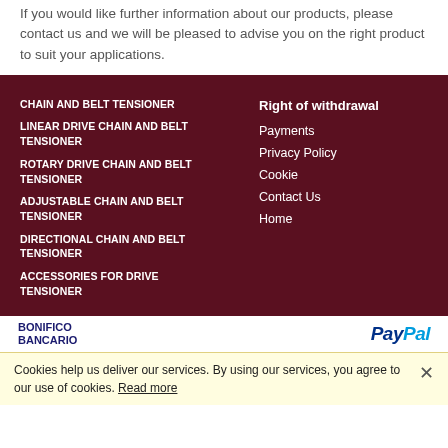If you would like further information about our products, please contact us and we will be pleased to advise you on the right product to suit your applications.
CHAIN AND BELT TENSIONER
LINEAR DRIVE CHAIN AND BELT TENSIONER
ROTARY DRIVE CHAIN AND BELT TENSIONER
ADJUSTABLE CHAIN AND BELT TENSIONER
DIRECTIONAL CHAIN AND BELT TENSIONER
ACCESSORIES FOR DRIVE TENSIONER
Right of withdrawal
Payments
Privacy Policy
Cookie
Contact Us
Home
[Figure (logo): BONIFICO BANCARIO logo text and PayPal logo side by side in a white payment bar]
Cookies help us deliver our services. By using our services, you agree to our use of cookies. Read more